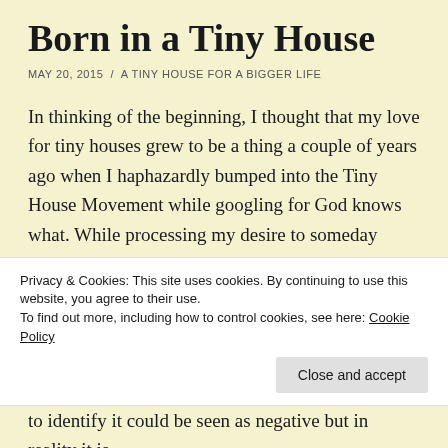Born in a Tiny House
MAY 20, 2015  /  A TINY HOUSE FOR A BIGGER LIFE
In thinking of the beginning, I thought that my love for tiny houses grew to be a thing a couple of years ago when I haphazardly bumped into the Tiny House Movement while googling for God knows what. While processing my desire to someday build my own tiny home, I was drawn to memories of  my early childhood.
I was born in rural Central Puerto Rico, in a small town
Privacy & Cookies: This site uses cookies. By continuing to use this website, you agree to their use.
To find out more, including how to control cookies, see here: Cookie Policy
to identify it could be seen as negative but in reality it is